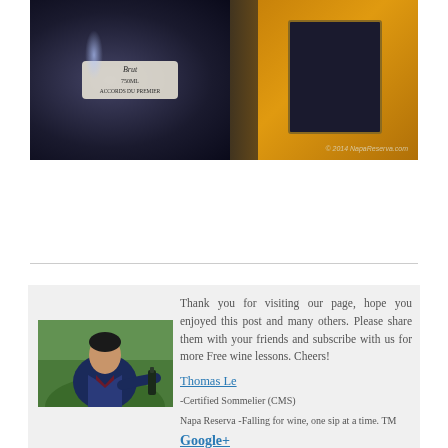[Figure (photo): Two wine bottles closeup photograph. Left bottle is dark with a white/cream label showing 'Brut 750ML' text. Right bottle shows an orange/gold label with dark border. Copyright text reads '© 2014 NapaReserva.com' at bottom right.]
[Figure (photo): Portrait photo of Thomas Le, a man in a dark navy blazer over a burgundy shirt, outdoors with greenery in background, appearing to pour wine from a bottle.]
Thank you for visiting our page, hope you enjoyed this post and many others. Please share them with your friends and subscribe with us for more Free wine lessons. Cheers!
Thomas Le
-Certified Sommelier (CMS)
Napa Reserva -Falling for wine, one sip at a time. TM
Google+